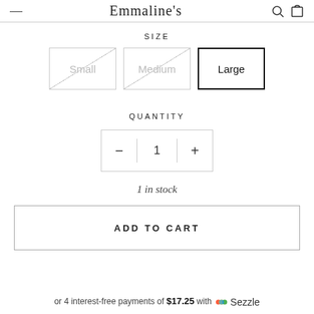Emmaline's
SIZE
Small  Medium  Large
QUANTITY
- 1 +
1 in stock
ADD TO CART
or 4 interest-free payments of $17.25 with Sezzle